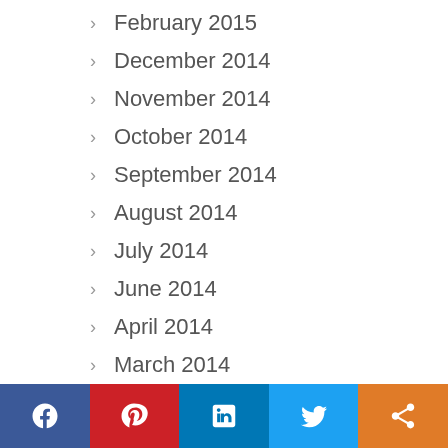February 2015
December 2014
November 2014
October 2014
September 2014
August 2014
July 2014
June 2014
April 2014
March 2014
November 2013
September 2013
July 2013
June 2013
Facebook Pinterest LinkedIn Twitter Share